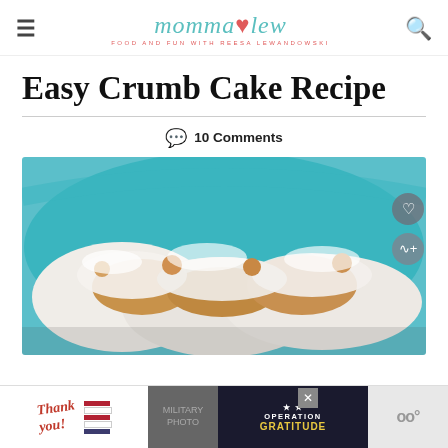momma·lew — FOOD AND FUN WITH REESA LEWANDOWSKI
Easy Crumb Cake Recipe
10 Comments
[Figure (photo): Close-up photo of crumb cake pieces dusted with powdered sugar on a teal/turquoise plate]
[Figure (infographic): Advertisement banner: Thank You military appreciation / Operation Gratitude ad with close button]